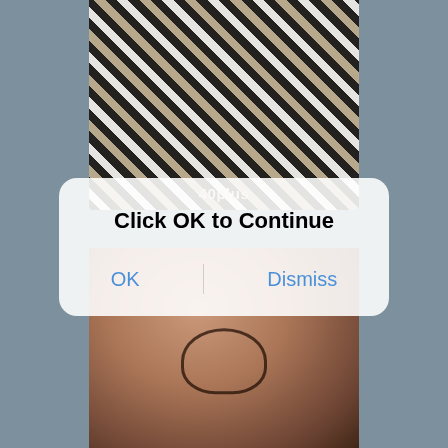[Figure (photo): Top photo showing a person in a black and white striped garment, partially obscured, with label '40plus' at bottom]
[Figure (screenshot): iOS-style dialog box overlay with title 'Click OK to Continue' and two buttons: OK and Dismiss]
[Figure (photo): Bottom photo showing a partially visible person in dark lace lingerie against a dark background]